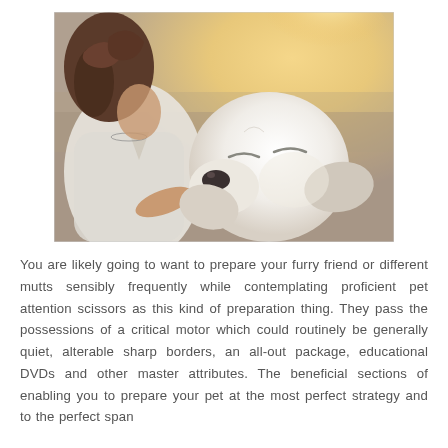[Figure (photo): A woman holding the face of a white Labrador dog gently with both hands outdoors at a beach with warm sunlight in the background.]
You are likely going to want to prepare your furry friend or different mutts sensibly frequently while contemplating proficient pet attention scissors as this kind of preparation thing. They pass the possessions of a critical motor which could routinely be generally quiet, alterable sharp borders, an all-out package, educational DVDs and other master attributes. The beneficial sections of enabling you to prepare your pet at the most perfect strategy and to the perfect span